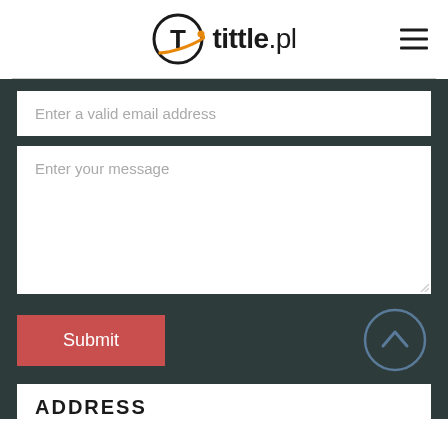[Figure (logo): tittle.pl logo with orange orbit T icon and hamburger menu]
Enter a valid email address
Enter your message
Submit
ADDRESS